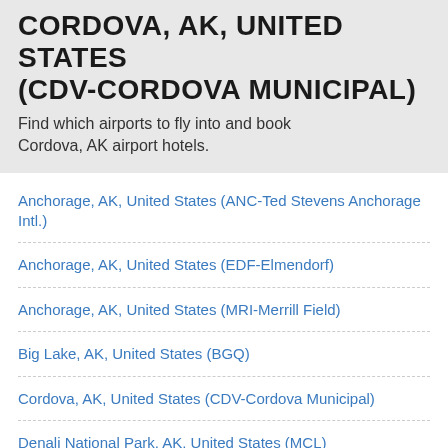CORDOVA, AK, UNITED STATES (CDV-CORDOVA MUNICIPAL)
Find which airports to fly into and book Cordova, AK airport hotels.
Anchorage, AK, United States (ANC-Ted Stevens Anchorage Intl.)
Anchorage, AK, United States (EDF-Elmendorf)
Anchorage, AK, United States (MRI-Merrill Field)
Big Lake, AK, United States (BGQ)
Cordova, AK, United States (CDV-Cordova Municipal)
Denali National Park, AK, United States (MCL)
Palmer, AK, United States (PAQ)
Seward, AK, United States (SWD)
Talkeetna, AK, United States (TKA)